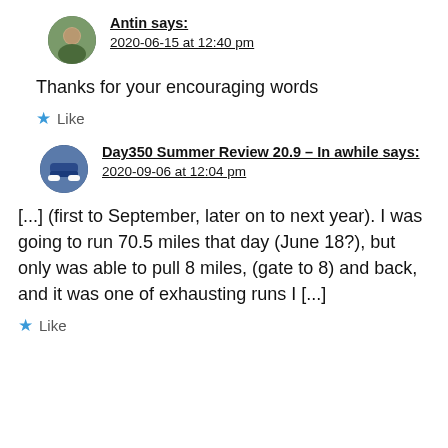Antin says: 2020-06-15 at 12:40 pm
Thanks for your encouraging words
★ Like
Day350 Summer Review 20.9 – In awhile says: 2020-09-06 at 12:04 pm
[...] (first to September, later on to next year). I was going to run 70.5 miles that day (June 18?), but only was able to pull 8 miles, (gate to 8) and back, and it was one of exhausting runs I [...]
★ Like